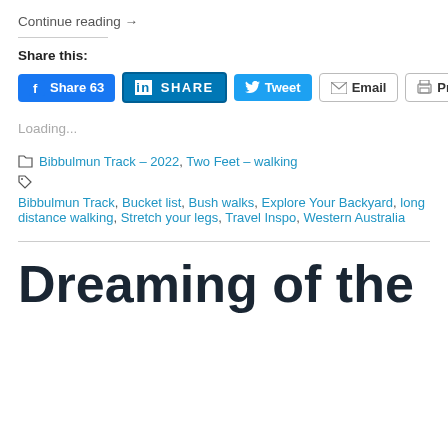Continue reading →
Share this:
[Figure (screenshot): Social share buttons: Facebook Share 63, LinkedIn SHARE, Twitter Tweet, Email, Print]
Loading...
📁 Bibbulmun Track – 2022, Two Feet – walking
🏷 Bibbulmun Track, Bucket list, Bush walks, Explore Your Backyard, long distance walking, Stretch your legs, Travel Inspo, Western Australia
Dreaming of the